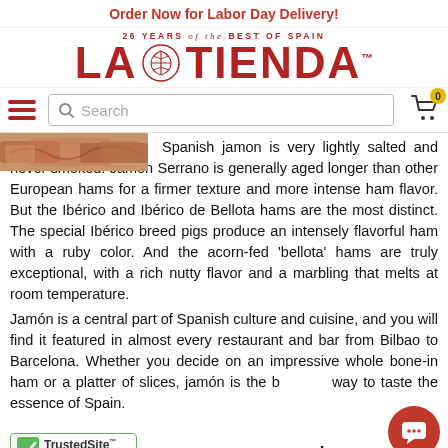Order Now for Labor Day Delivery!
[Figure (logo): La Tienda logo with shell emblem and tagline '26 YEARS of the BEST OF SPAIN']
[Figure (screenshot): Navigation bar with hamburger menu, search box, and cart icon with badge '0']
[Figure (photo): Partial image of Spanish jamon/ham products]
Spanish jamon is very lightly salted and never smoked. Jamón Serrano is generally aged longer than other European hams for a firmer texture and more intense ham flavor. But the Ibérico and Ibérico de Bellota hams are the most distinct. The special Ibérico breed pigs produce an intensely flavorful ham with a ruby color. And the acorn-fed 'bellota' hams are truly exceptional, with a rich nutty flavor and a marbling that melts at room temperature.
Jamón is a central part of Spanish culture and cuisine, and you will find it featured in almost every restaurant and bar from Bilbao to Barcelona. Whether you decide on an impressive whole bone-in ham or a platter of slices, jamón is the best way to taste the essence of Spain.
¡B…o!
[Figure (logo): TrustedSite CERTIFIED SECURE badge]
[Figure (other): Red circular chat/support button]